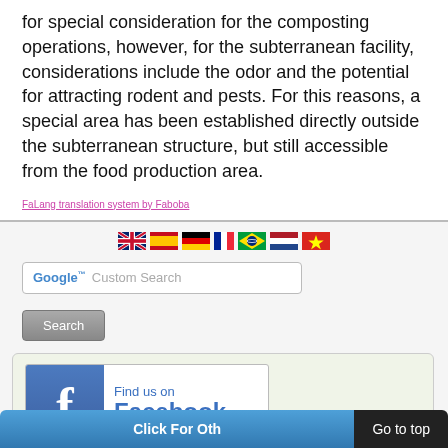for special consideration for the composting operations, however, for the subterranean facility, considerations include the odor and the potential for attracting rodent and pests. For this reasons, a special area has been established directly outside the subterranean structure, but still accessible from the food production area.
FaLang translation system by Faboba
[Figure (illustration): Row of country flag icons: UK, Spain, Germany, France, Brazil, Netherlands, Vietnam]
[Figure (screenshot): Google Custom Search input box with search button]
[Figure (illustration): Facebook Find us on Facebook banner in a light green rounded box]
[Figure (screenshot): Bottom bar with blue Click For Other button and black Go to top tooltip]